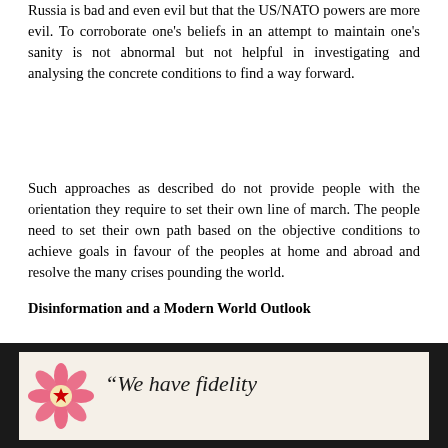Russia is bad and even evil but that the US/NATO powers are more evil. To corroborate one's beliefs in an attempt to maintain one's sanity is not abnormal but not helpful in investigating and analysing the concrete conditions to find a way forward.
Such approaches as described do not provide people with the orientation they require to set their own line of march. The people need to set their own path based on the objective conditions to achieve goals in favour of the peoples at home and abroad and resolve the many crises pounding the world.
Disinformation and a Modern World Outlook
[Figure (illustration): A framed decorative image with a dark border and cream background. On the left is a pink flower with a red star-shaped centre. To the right is italic text reading: "We have fidelity" followed by a partially visible line below.]